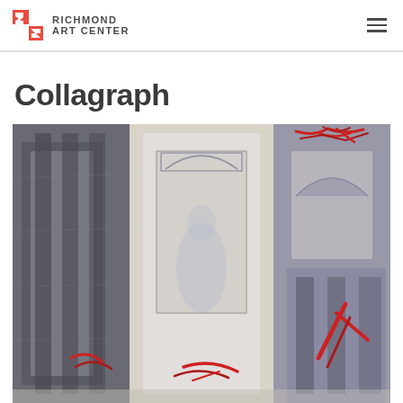Richmond Art Center
Collagraph
[Figure (photo): A collagraph print artwork showing architectural forms — doors, windows, and wall surfaces — rendered in blue-grey and red ink marks on light paper, with gestural red strokes and textured surfaces suggesting a layered printmaking technique.]